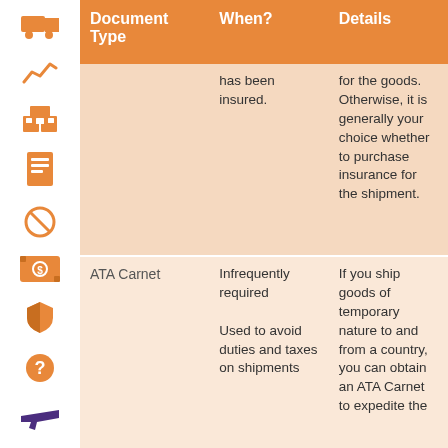| Document Type | When? | Details |
| --- | --- | --- |
|  | has been insured. | for the goods. Otherwise, it is generally your choice whether to purchase insurance for the shipment. |
| ATA Carnet | Infrequently required

Used to avoid duties and taxes on shipments | If you ship goods of temporary nature to and from a country, you can obtain an ATA Carnet to expedite the |